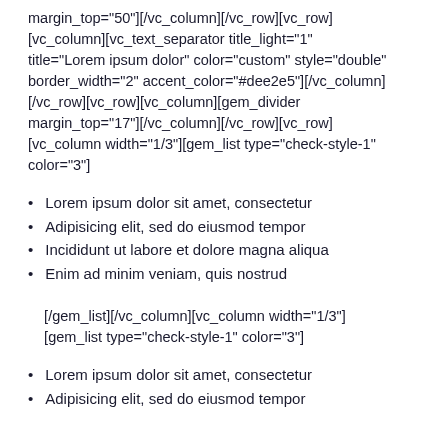margin_top="50"][/vc_column][/vc_row][vc_row][vc_column][vc_text_separator title_light="1" title="Lorem ipsum dolor" color="custom" style="double" border_width="2" accent_color="#dee2e5"][/vc_column][/vc_row][vc_row][vc_column][gem_divider margin_top="17"][/vc_column][/vc_row][vc_row][vc_column width="1/3"][gem_list type="check-style-1" color="3"]
Lorem ipsum dolor sit amet, consectetur
Adipisicing elit, sed do eiusmod tempor
Incididunt ut labore et dolore magna aliqua
Enim ad minim veniam, quis nostrud
[/gem_list][/vc_column][vc_column width="1/3"][gem_list type="check-style-1" color="3"]
Lorem ipsum dolor sit amet, consectetur
Adipisicing elit, sed do eiusmod tempor